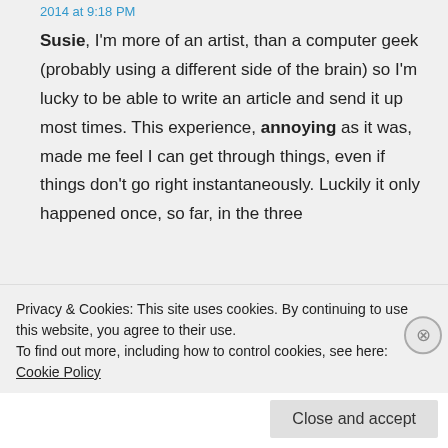2014 at 9:18 PM
Susie, I'm more of an artist, than a computer geek (probably using a different side of the brain) so I'm lucky to be able to write an article and send it up most times. This experience, annoying as it was, made me feel I can get through things, even if things don't go right instantaneously. Luckily it only happened once, so far, in the three
Privacy & Cookies: This site uses cookies. By continuing to use this website, you agree to their use.
To find out more, including how to control cookies, see here: Cookie Policy
Close and accept